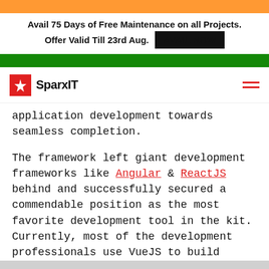[Figure (infographic): Promotional banner with Indian flag colors (saffron, white, green). Text: 'Avail 75 Days of Free Maintenance on all Projects. Offer Valid Till 23rd Aug.' with 'AVAIL NOW' button.]
[Figure (logo): SparxIT logo: red square with white fan/pinwheel icon, followed by 'SparxIT' text. Hamburger menu icon on the right.]
application development towards seamless completion.
The framework left giant development frameworks like Angular & ReactJS behind and successfully secured a commendable position as the most favorite development tool in the kit. Currently, most of the development professionals use VueJS to build sophisticated single-page web applications for the businesses.